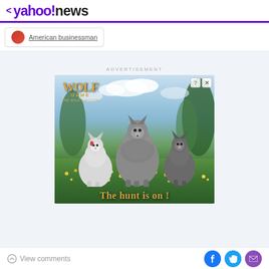< yahoo!news
American businessman
ADVERTISEMENT
[Figure (photo): Wolf Game: The Wild Kingdom advertisement showing three CGI wolves standing in a meadow with yellow flowers, text reading 'THE HUNT IS ON!']
View comments
Social sharing icons: Facebook, Twitter, Email